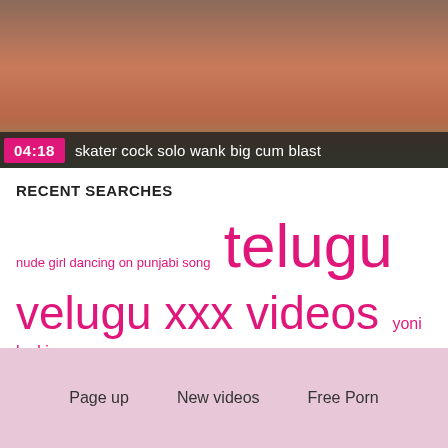[Figure (screenshot): Video thumbnail showing a close-up image with a pink/brown color, with a video overlay bar showing '04:18' timestamp and title 'skater cock solo wank big cum blast']
RECENT SEARCHES
nude girl dancing on punjabi song   telugu   velugu xxx videos   yoni ko kiss   pussy licking   xxxhd china x china chinese sex video hd   massage   rape xxx pron   sabik joy sumaling   অচুচু অচুচু   sudiye   bahut bada ling sex video   lucy vr
Page up   New videos   Free Porn